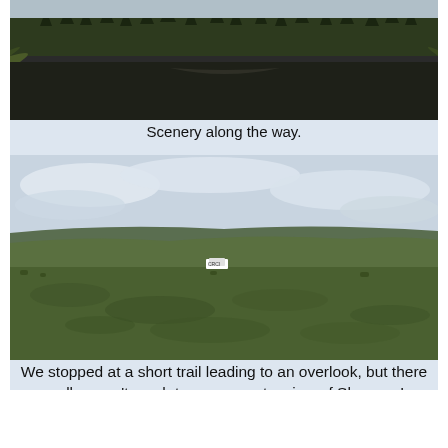[Figure (photo): A calm dark river or pond reflecting trees and sky, with dense boreal forest of spruce trees in the background and grassy banks in the foreground.]
Scenery along the way.
[Figure (photo): Open tundra landscape with green rolling hills, low shrubs in foreground, mountains or ridge in background, partly cloudy sky. A small white sign or marker is visible in the middle distance.]
We stopped at a short trail leading to an overlook, but there really wasn't much to see except a view of Sherman!